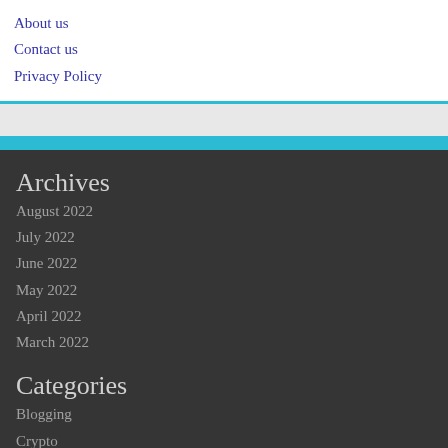About us
Contact us
Privacy Policy
Archives
August 2022
July 2022
June 2022
May 2022
April 2022
March 2022
Categories
Blogging
Crypto